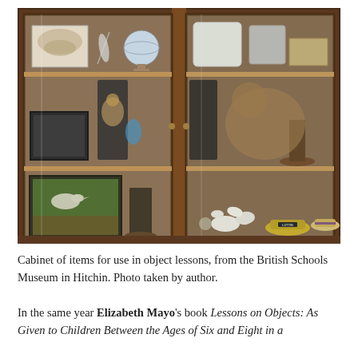[Figure (photo): A wooden cabinet with glass panel doors showing two sections of shelves. The top shelf contains a globe, a butterfly specimen card, feathers, and plastic-wrapped items. The middle shelf holds a taxidermied small animal (cat or squirrel), a framed dark picture, and various packaged items. The bottom shelf on the left has a framed diorama of a bird in a natural scene; the right bottom shelf has seashells, a Luton hat, and other small objects.]
Cabinet of items for use in object lessons, from the British Schools Museum in Hitchin. Photo taken by author.
In the same year Elizabeth Mayo's book Lessons on Objects: As Given to Children Between the Ages of Six and Eight in a